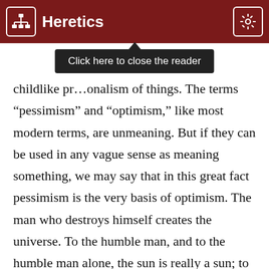Heretics
childlike pr…onalism of things. The terms “pessimism” and “optimism,” like most modern terms, are unmeaning. But if they can be used in any vague sense as meaning something, we may say that in this great fact pessimism is the very basis of optimism. The man who destroys himself creates the universe. To the humble man, and to the humble man alone, the sun is really a sun; to the humble man, and to the humble man alone, the sea is really a sea. When he looks at all the faces in the street, he does not only realize that men are alive, he realizes with a